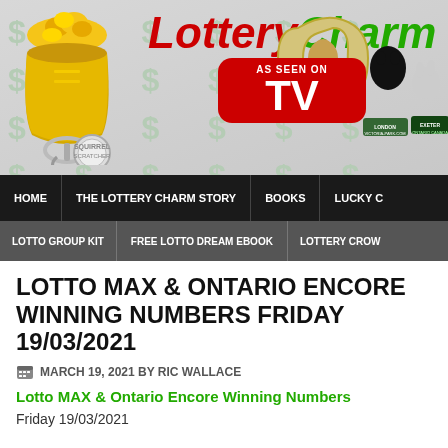[Figure (illustration): LotteryCharm website header banner with logo showing a golden pot of coins on a keychain, a squirrel scratcher coin, 'AS SEEN ON TV' red badge, horseshoe charm with horse logo (lovelylambeth.com), animal pins (black bear, rabbit), and dollar sign watermarks in background. Text reads 'LotteryCharm' in red and green italic letters.]
HOME | THE LOTTERY CHARM STORY | BOOKS | LUCKY C...
LOTTO GROUP KIT | FREE LOTTO DREAM EBOOK | LOTTERY CROW...
LOTTO MAX & ONTARIO ENCORE WINNING NUMBERS FRIDAY 19/03/2021
MARCH 19, 2021 BY RIC WALLACE
Lotto MAX & Ontario Encore Winning Numbers
Friday 19/03/2021